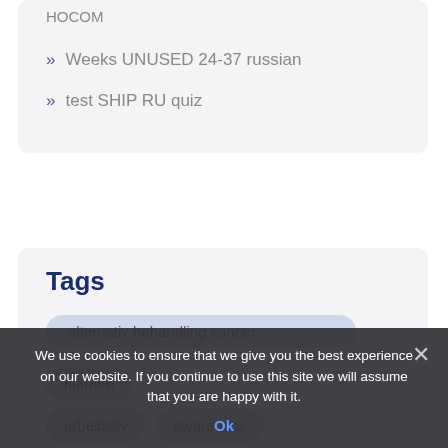HOCOM
Weeks UNUSED 24-37 russian
test SHIP RU quiz
Tags
alternativ behandling cancer
hjernen
arbeidsliv  awareness
We use cookies to ensure that we give you the best experience on our website. If you continue to use this site we will assume that you are happy with it.
Ok